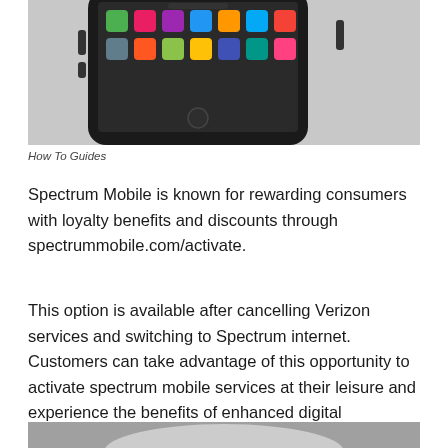[Figure (photo): A black smartphone (iPhone) lying on a light gray surface, showing the home screen with colorful app icons, viewed from an angle.]
How To Guides
Spectrum Mobile is known for rewarding consumers with loyalty benefits and discounts through spectrummobile.com/activate.
This option is available after cancelling Verizon services and switching to Spectrum internet. Customers can take advantage of this opportunity to activate spectrum mobile services at their leisure and experience the benefits of enhanced digital communication.
[Figure (photo): Bottom portion of another image, partially visible at the bottom of the page.]